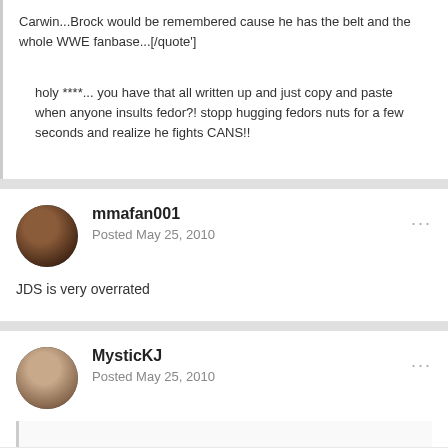Carwin...Brock would be remembered cause he has the belt and the whole WWE fanbase...[/quote']
holy ****... you have that all written up and just copy and paste when anyone insults fedor?! stopp hugging fedors nuts for a few seconds and realize he fights CANS!!
mmafan001
Posted May 25, 2010
JDS is very overrated
MysticKJ
Posted May 25, 2010